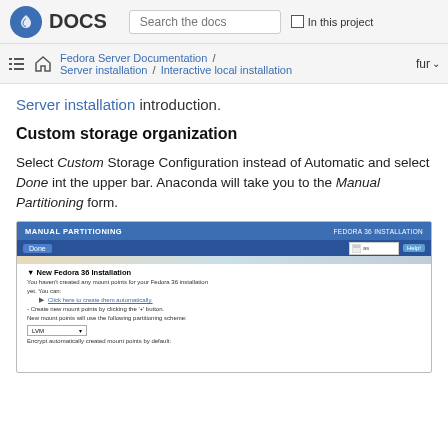DOCS | Search the docs | In this project
Fedora Server Documentation / Server installation / Interactive local installation | fur
Server installation introduction.
Custom storage organization
Select Custom Storage Configuration instead of Automatic and select Done int the upper bar. Anaconda will take you to the Manual Partitioning form.
[Figure (screenshot): Screenshot of the Anaconda Manual Partitioning screen in Fedora 36 Installation. Shows the Manual Partitioning header, Done button, a New Fedora 36 Installation section with instructions to create mount points automatically or manually using the + button, an LVM dropdown for partitioning scheme, and an option to encrypt automatically created mount points by default.]